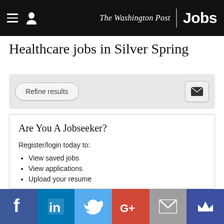The Washington Post Jobs
Healthcare jobs in Silver Spring
Refine results
Are You A Jobseeker?
Register/login today to:
View saved jobs
View applications
Upload your resume
[Figure (other): Social sharing bar with Facebook, LinkedIn, Twitter, Google+, Email, and Crown icons]